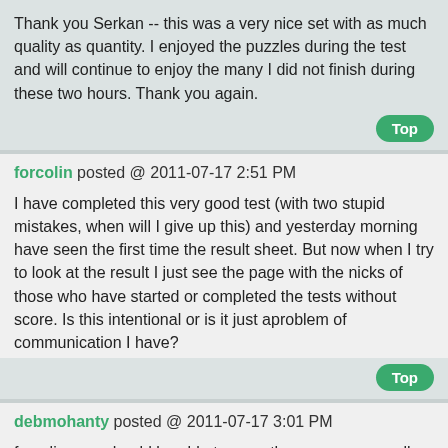Thank you Serkan -- this was a very nice set with as much quality as quantity. I enjoyed the puzzles during the test and will continue to enjoy the many I did not finish during these two hours. Thank you again.
Top
forcolin posted @ 2011-07-17 2:51 PM
I have completed this very good test (with two stupid mistakes, when will I give up this) and yesterday morning have seen the first time the result sheet. But now when I try to look at the result I just see the page with the nicks of those who have started or completed the tests without score. Is this intentional or is it just aproblem of communication I have?
Top
debmohanty posted @ 2011-07-17 3:01 PM
forcolin, you should be able to see others scores as well, please check again. The score page should show others scores.
Please send me a screenshot of score page, if the problem